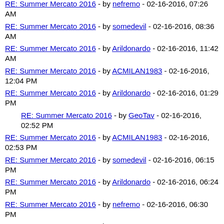RE: Summer Mercato 2016 - by nefremo - 02-16-2016, 07:26 AM
RE: Summer Mercato 2016 - by somedevil - 02-16-2016, 08:36 AM
RE: Summer Mercato 2016 - by Arildonardo - 02-16-2016, 11:42 AM
RE: Summer Mercato 2016 - by ACMILAN1983 - 02-16-2016, 12:04 PM
RE: Summer Mercato 2016 - by Arildonardo - 02-16-2016, 01:29 PM
RE: Summer Mercato 2016 - by GeoTav - 02-16-2016, 02:52 PM (indented)
RE: Summer Mercato 2016 - by ACMILAN1983 - 02-16-2016, 02:53 PM
RE: Summer Mercato 2016 - by somedevil - 02-16-2016, 06:15 PM
RE: Summer Mercato 2016 - by Arildonardo - 02-16-2016, 06:24 PM
RE: Summer Mercato 2016 - by nefremo - 02-16-2016, 06:30 PM
RE: Summer Mercato 2016 - by reza - 02-16-2016, 06:49 PM
RE: Summer Mercato 2016 - by ACM2022 - 02-16-2016, 07:00 PM (indented)
RE: Summer Mercato 2016 - by Arildonardo - 02-16-2016 (indented2, cut off)